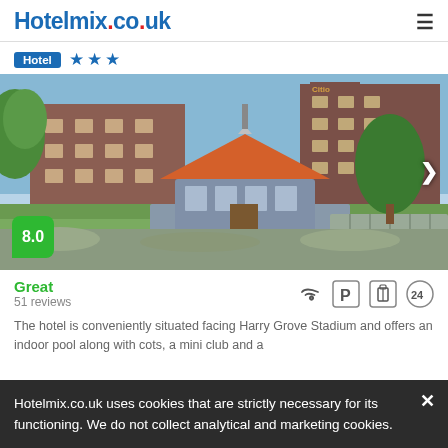Hotelmix.co.uk
Hotel ★★★
[Figure (photo): Hotel exterior photo showing a building with orange/red roof pavilion connected by a wooden walkway, with brick multi-story hotel building in background, surrounded by greenery]
Great
51 reviews
The hotel is conveniently situated facing Harry Grove Stadium and offers an indoor pool along with cots, a mini club and a
Hotelmix.co.uk uses cookies that are strictly necessary for its functioning. We do not collect analytical and marketing cookies.
from £109/night
SELECT